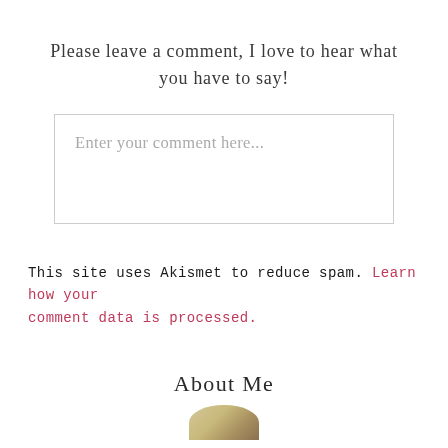Please leave a comment, I love to hear what you have to say!
[Figure (other): Comment text input box with placeholder text 'Enter your comment here...']
This site uses Akismet to reduce spam. Learn how your comment data is processed.
About Me
[Figure (photo): Partial circular avatar/profile image at bottom of page]